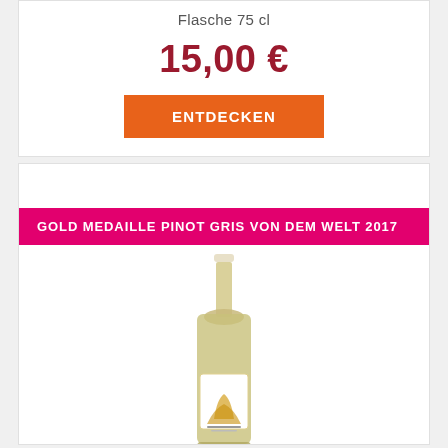Flasche 75 cl
15,00 €
ENTDECKEN
GOLD MEDAILLE PINOT GRIS VON DEM WELT 2017
[Figure (photo): A wine bottle with a white label featuring a golden illustration, standing upright against a white background.]